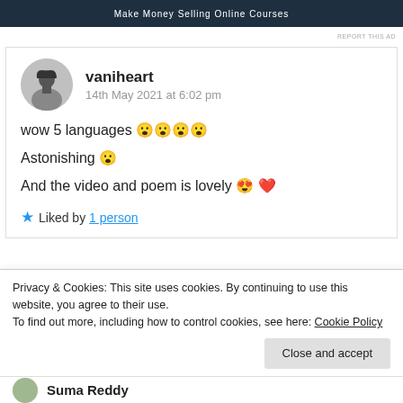[Figure (screenshot): Dark banner advertisement strip at top]
REPORT THIS AD
vaniheart
14th May 2021 at 6:02 pm

wow 5 languages 😮😮😮😮
Astonishing 😮
And the video and poem is lovely 😍 ❤️

★ Liked by 1 person
Privacy & Cookies: This site uses cookies. By continuing to use this website, you agree to their use.
To find out more, including how to control cookies, see here: Cookie Policy
Close and accept
Suma Reddy